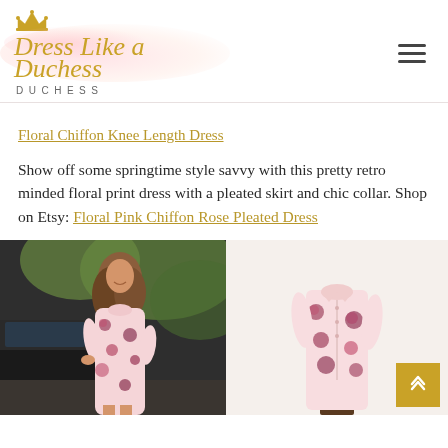[Figure (logo): Dress Like a Duchess logo with gold crown, pink watercolor background, cursive script 'Dress Like a Duchess' in gold, spaced serif DUCHESS text below]
Floral Chiffon Knee Length Dress
Show off some springtime style savvy with this pretty retro minded floral print dress with a pleated skirt and chic collar. Shop on Etsy: Floral Pink Chiffon Rose Pleated Dress
[Figure (photo): Two side-by-side photos: left shows a woman with brown wavy hair wearing a pink floral chiffon dress standing outdoors near a black car; right shows a dress mannequin displaying the same pink floral chiffon dress with a collar]